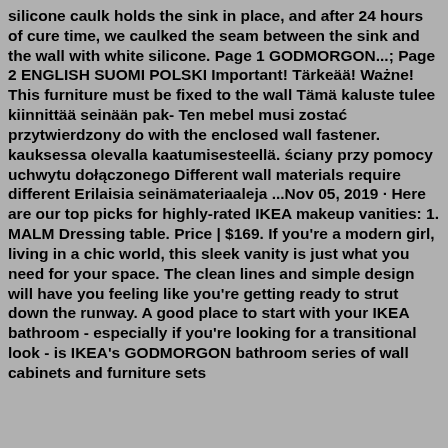silicone caulk holds the sink in place, and after 24 hours of cure time, we caulked the seam between the sink and the wall with white silicone. Page 1 GODMORGON...; Page 2 ENGLISH SUOMI POLSKI Important! Tärkeää! Ważne! This furniture must be fixed to the wall Tämä kaluste tulee kiinnittää seinään pak- Ten mebel musi zostać przymocowany do with the enclosed wall fastener. kauksessa olevalla kaatumisesteellä. ściany przy pomocy uchwytu dołączonego Different wall materials require different Erilaisia seinämateriaaleja ...Nov 05, 2019 · Here are our top picks for highly-rated IKEA makeup vanities: 1. MALM Dressing table. Price | $169. If you're a modern girl, living in a chic world, this sleek vanity is just what you need for your space. The clean lines and simple design will have you feeling like you're getting ready to strut down the runway. A good place to start with your IKEA bathroom - especially if you're looking for a transitional look - is IKEA's GODMORGON bathroom series of wall cabinets and furniture sets